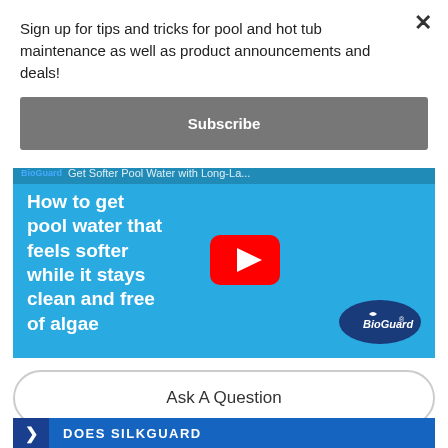Sign up for tips and tricks for pool and hot tub maintenance as well as product announcements and deals!
Subscribe
[Figure (screenshot): YouTube video thumbnail for BioGuard showing text 'How to get pool water that feels softer while it stays clean and free of algae' with a red YouTube play button overlay and BioGuard logo oval in bottom right. Background shows people on pink flamingo float in a pool.]
Ask A Question
DOES SILKGUARD